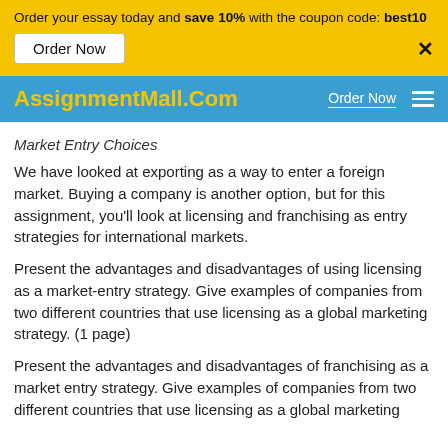Order your essay today and save 10% with the coupon code: best10
AssignmentMall.Com  Order Now
Market Entry Choices
We have looked at exporting as a way to enter a foreign market. Buying a company is another option, but for this assignment, you'll look at licensing and franchising as entry strategies for international markets.
Present the advantages and disadvantages of using licensing as a market-entry strategy. Give examples of companies from two different countries that use licensing as a global marketing strategy. (1 page)
Present the advantages and disadvantages of franchising as a market entry strategy. Give examples of companies from two different countries that use licensing as a global marketing